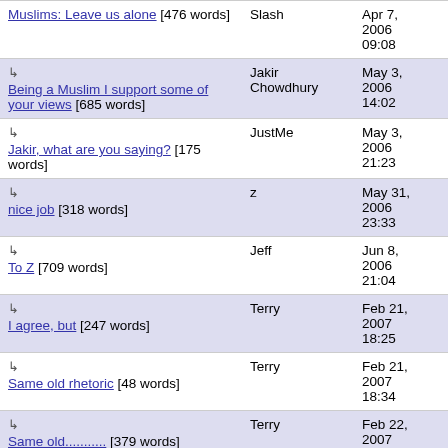| Title | Author | Date |
| --- | --- | --- |
| Muslims: Leave us alone [476 words] | Slash | Apr 7, 2006 09:08 |
| ↳ Being a Muslim I support some of your views [685 words] | Jakir Chowdhury | May 3, 2006 14:02 |
| ↳ Jakir, what are you saying? [175 words] | JustMe | May 3, 2006 21:23 |
| ↳ nice job [318 words] | z | May 31, 2006 23:33 |
| ↳ To Z [709 words] | Jeff | Jun 8, 2006 21:04 |
| ↳ I agree, but [247 words] | Terry | Feb 21, 2007 18:25 |
| ↳ Same old rhetoric [48 words] | Terry | Feb 21, 2007 18:34 |
| ↳ Same old........... [379 words] | Terry | Feb 22, 2007 17:20 |
| ↳ | saad | Apr 14 |